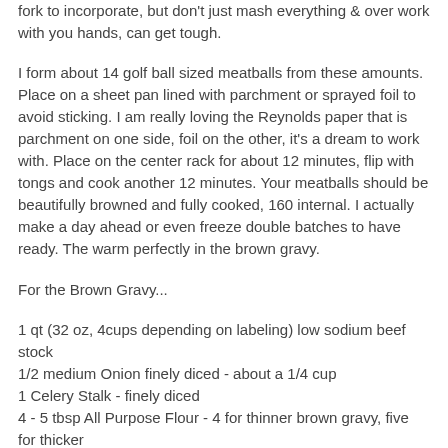fork to incorporate, but don't just mash everything & over work with you hands, can get tough.
I form about 14 golf ball sized meatballs from these amounts. Place on a sheet pan lined with parchment or sprayed foil to avoid sticking. I am really loving the Reynolds paper that is parchment on one side, foil on the other, it's a dream to work with. Place on the center rack for about 12 minutes, flip with tongs and cook another 12 minutes. Your meatballs should be beautifully browned and fully cooked, 160 internal. I actually make a day ahead or even freeze double batches to have ready. The warm perfectly in the brown gravy.
For the Brown Gravy...
1 qt (32 oz, 4cups depending on labeling) low sodium beef stock
1/2 medium Onion finely diced - about a 1/4 cup
1 Celery Stalk - finely diced
4 - 5 tbsp All Purpose Flour - 4 for thinner brown gravy, five for thicker
3 tbsp Butter - unsalted